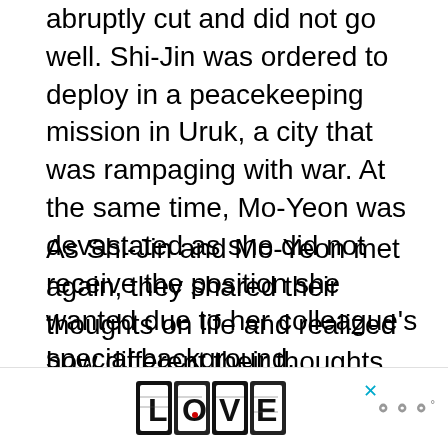abruptly cut and did not go well. Shi-Jin was ordered to deploy in a peacekeeping mission in Uruk, a city that was rampaging with war. At the same time, Mo-Yeon was devastated as she did not receive the position she wanted due to her colleague's special background.
As Shi-Jin and Mo-Yeon met again, they shared their thoughts on life and realized how different their thoughts and principles were. Shi-Jin, as a soldier, kills to protect innocent lives while Mo-Yeon, as a doctor, saves peoples' lives. After that, they both said goodbye and parted ways.
[Figure (other): Advertisement banner with decorative LOVE text artwork in black and white style, with a close button (x) and a logo icon on the right]